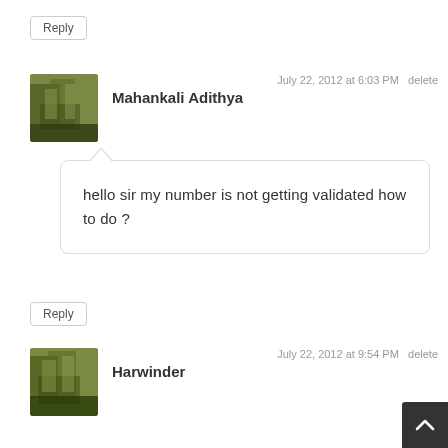Reply
July 22, 2012 at 6:03 PM  delete
Mahankali Adithya
hello sir my number is not getting validated how to do ?
Reply
July 22, 2012 at 9:54 PM  delete
Harwinder